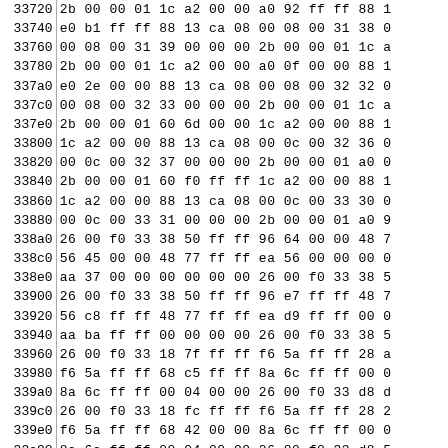| Address | Hex Data |
| --- | --- |
| 33720 | 2b 00 00 01 1c a2 00 00 a0 92 ff ff 88 1 |
| 33740 | e0 b1 ff ff 88 13 ca 08 00 08 00 31 38 0 |
| 33760 | 00 08 00 31 39 00 00 00 2b 00 00 01 1c a |
| 33780 | 2b 00 00 01 1c a2 00 00 a0 0f 00 00 88 1 |
| 337a0 | e0 2e 00 00 88 13 ca 08 00 08 00 32 32 0 |
| 337c0 | 00 08 00 32 33 00 00 00 2b 00 00 01 1c a |
| 337e0 | 2b 00 00 01 60 6d 00 00 1c a2 00 00 88 1 |
| 33800 | 1c a2 00 00 88 13 ca 08 00 0c 00 32 36 0 |
| 33820 | 00 0c 00 32 37 00 00 00 2b 00 00 01 a0 0 |
| 33840 | 2b 00 00 01 60 f0 ff ff 1c a2 00 00 88 1 |
| 33860 | 1c a2 00 00 88 13 ca 08 00 0c 00 33 30 0 |
| 33880 | 00 0c 00 33 31 00 00 00 2b 00 00 01 a0 9 |
| 338a0 | 26 00 f0 33 38 50 ff ff 96 64 00 00 48 7 |
| 338c0 | 56 45 00 00 48 77 ff ff ea 56 00 00 00 0 |
| 338e0 | aa 37 00 00 00 00 00 00 26 00 f0 33 38 5 |
| 33900 | 26 00 f0 33 38 50 ff ff 96 e7 ff ff 48 7 |
| 33920 | 56 c8 ff ff 48 77 ff ff ea d9 ff ff 00 0 |
| 33940 | aa ba ff ff 00 00 00 00 26 00 f0 33 38 5 |
| 33960 | 26 00 f0 33 18 7f ff ff f6 5a ff ff 28 a |
| 33980 | f6 5a ff ff 68 c5 ff ff 8a 6c ff ff 00 0 |
| 339a0 | 8a 6c ff ff 00 04 00 00 26 00 f0 33 d8 d |
| 339c0 | 26 00 f0 33 18 fc ff ff f6 5a ff ff 28 2 |
| 339e0 | f6 5a ff ff 68 42 00 00 8a 6c ff ff 00 0 |
| 33a00 | 8a 6c ff ff 00 04 00 00 26 00 f0 33 d8 5 |
| 33a20 | 26 00 f0 33 b8 88 00 00 d6 89 ff ff c8 a |
| 33a40 | 16 a9 ff ff c8 af 00 00 aa ba ff ff 00 0 |
| 33a60 | ea d9 ff ff 00 08 00 00 26 00 f0 33 b8 8 |
| 33a80 | 26 00 f0 33 b8 88 00 00 d6 06 00 00 c8 a |
| 33aa0 | 16 26 00 00 c8 af 00 00 aa 37 00 00 00 0 |
| 33ac0 | ea 56 00 00 00 08 00 00 26 00 f0 33 b8 8 |